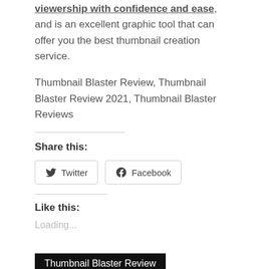viewership with confidence and ease, and is an excellent graphic tool that can offer you the best thumbnail creation service.
Thumbnail Blaster Review, Thumbnail Blaster Review 2021, Thumbnail Blaster Reviews
Share this:
Twitter
Facebook
Like this:
Loading...
Thumbnail Blaster Review
Thumbnail Blaster Review 2021
Thumbnail Blaster Reviews